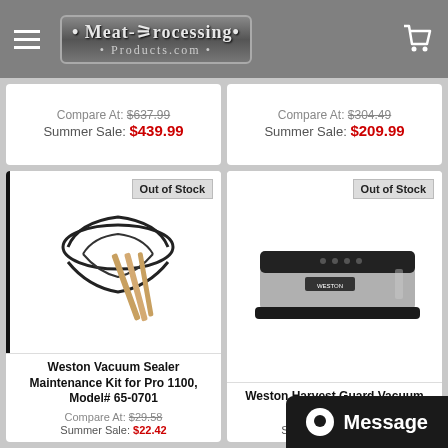Meat-Processing Products.com
Compare At: $637.99
Summer Sale: $439.99
Compare At: $304.49
Summer Sale: $209.99
[Figure (photo): Weston Vacuum Sealer Maintenance Kit parts including rubber gaskets and wooden sticks with Out of Stock badge]
[Figure (photo): Weston Harvest Guard Vacuum Sealer device, silver and black, with Out of Stock badge]
Weston Vacuum Sealer Maintenance Kit for Pro 1100, Model# 65-0701
Compare At: $29.58
Summer Sale: $22.42
Weston Harvest Guard Vacuum Sealer Model#
Summer Sale: $93.11